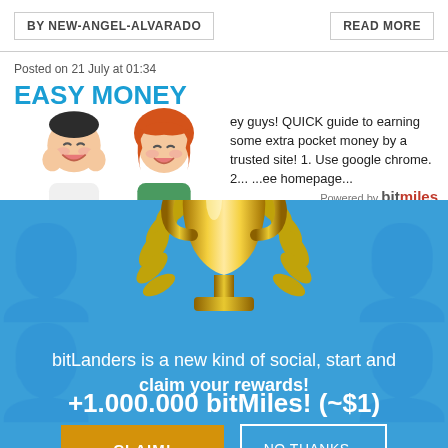BY NEW-ANGEL-ALVARADO | READ MORE
Posted on 21 July at 01:34
EASY MONEY
[Figure (illustration): Two cartoon avatar characters, a male and female, smiling]
Hey guys! QUICK guide to earning some extra pocket money by a trusted site! 1. Use google chrome. 2... ...ee homepage...
Powered by bitmiles
[Figure (illustration): Gold trophy cup with laurel leaves on blue background]
bitLanders is a new kind of social, start and claim your rewards!
+1.000.000 bitMiles! (~$1)
CLAIM!
NO THANKS...